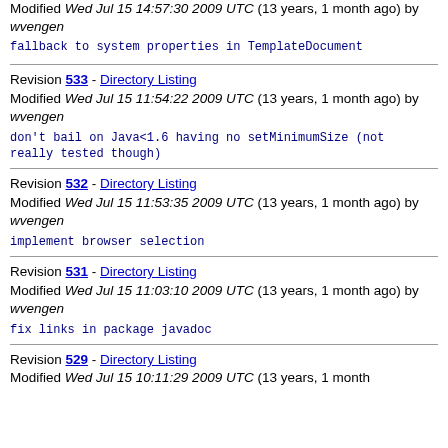Modified Wed Jul 15 14:57:30 2009 UTC (13 years, 1 month ago) by wvengen
fallback to system properties in TemplateDocument
Revision 533 - Directory Listing
Modified Wed Jul 15 11:54:22 2009 UTC (13 years, 1 month ago) by wvengen
don't bail on Java<1.6 having no setMinimumSize (not really tested though)
Revision 532 - Directory Listing
Modified Wed Jul 15 11:53:35 2009 UTC (13 years, 1 month ago) by wvengen
implement browser selection
Revision 531 - Directory Listing
Modified Wed Jul 15 11:03:10 2009 UTC (13 years, 1 month ago) by wvengen
fix links in package javadoc
Revision 529 - Directory Listing
Modified Wed Jul 15 10:11:29 2009 UTC (13 years, 1 month ago)